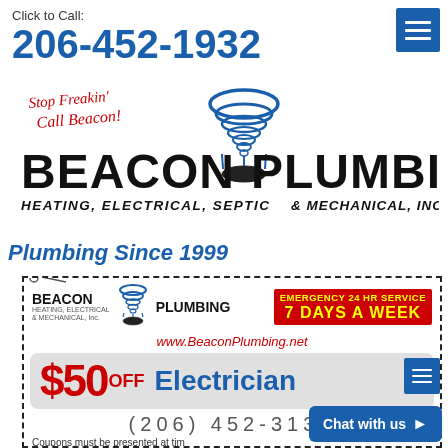Click to Call:
206-452-1932
[Figure (logo): Beacon Plumbing logo with tornado graphic and tagline 'Stop Freakin' Call Beacon!' HEATING, ELECTRICAL, SEPTIC & MECHANICAL, INC.]
Plumbing Since 1999
[Figure (infographic): Coupon for Beacon Plumbing: $50 OFF Electrician, Emergency 24 HR Service 7 Days A Week, www.BeaconPlumbing.net, phone (206) 452-3130, Coupons must be presented at time of service.]